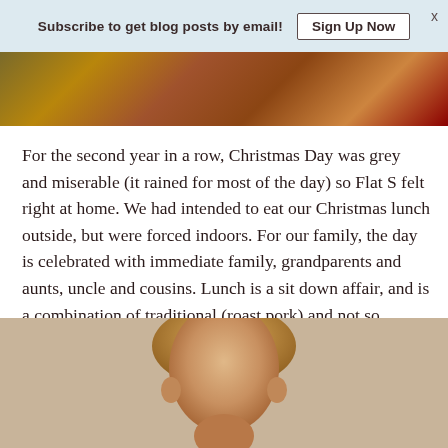Subscribe to get blog posts by email!  Sign Up Now  x
[Figure (photo): Partial photo strip at top of page showing colorful decorative items or food in warm tones]
For the second year in a row, Christmas Day was grey and miserable (it rained for most of the day) so Flat S felt right at home. We had intended to eat our Christmas lunch outside, but were forced indoors. For our family, the day is celebrated with immediate family, grandparents and aunts, uncle and cousins. Lunch is a sit down affair, and is a combination of traditional (roast pork) and not so traditional (salads). And rather than a hot Christmas pudding, I make an ice-cream pudding instead – this years' contained cherries, raspberries and small pieces of Cherry Ripe.
[Figure (photo): Photo of a young child with light brown hair viewed from above/behind, warm neutral background]